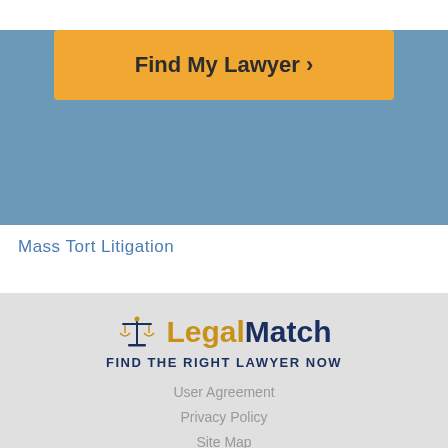[Figure (other): Find My Lawyer button with right chevron arrow on blue background]
Mass Tort Litigation
[Figure (logo): LegalMatch logo with scales of justice icon and tagline FIND THE RIGHT LAWYER NOW]
User Agreement
Privacy Policy
Site Map
LegalMatch Careers
[Figure (other): TRUSTe Certified Privacy - Powered by TrustArc badge]
[Figure (other): BBB Accredited Business badge]